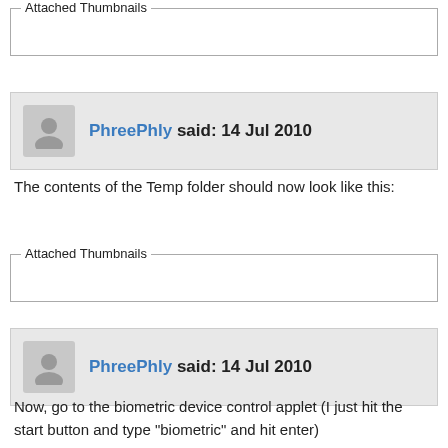[Figure (other): Attached Thumbnails fieldset box (empty)]
PhreePhly said: 14 Jul 2010
The contents of the Temp folder should now look like this:
[Figure (other): Attached Thumbnails fieldset box (empty)]
PhreePhly said: 14 Jul 2010
Now, go to the biometric device control applet (I just hit the start button and type "biometric" and hit enter)